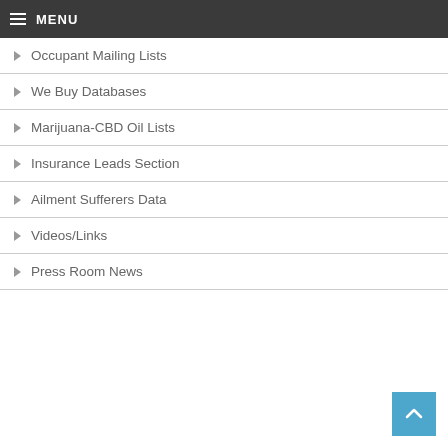MENU
Occupant Mailing Lists
We Buy Databases
Marijuana-CBD Oil Lists
Insurance Leads Section
Ailment Sufferers Data
Videos/Links
Press Room News